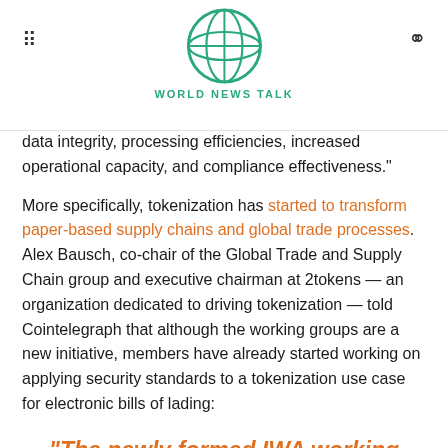World News Talk
data integrity, processing efficiencies, increased operational capacity, and compliance effectiveness."
More specifically, tokenization has started to transform paper-based supply chains and global trade processes. Alex Bausch, co-chair of the Global Trade and Supply Chain group and executive chairman at 2tokens — an organization dedicated to driving tokenization — told Cointelegraph that although the working groups are a new initiative, members have already started working on applying security standards to a tokenization use case for electronic bills of lading:
“The newly formed IWA working groups will take an active role in the implementation of the existing